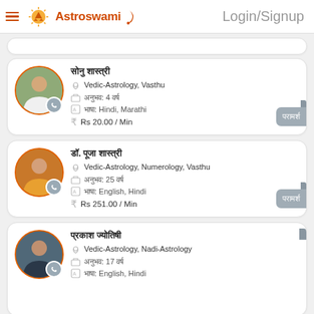Astroswami | Login/Signup
[Figure (screenshot): Astrology app listing with three astrologer profiles]
Astrologer 1 - Vedic-Astrology, Vasthu, Experience: 4 years, Language: Hindi, Marathi, Rs 20.00 / Min
Astrologer 2 - Vedic-Astrology, Numerology, Vasthu, Experience: 25 years, Language: English, Hindi, Rs 251.00 / Min
Astrologer 3 - Vedic-Astrology, Nadi-Astrology, Experience: 17 years, Language: English, Hindi